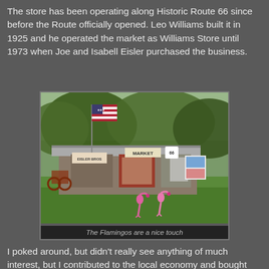The store has been operating along Historic Route 66 since before the Route officially opened. Leo Williams built it in 1925 and he operated the market as Williams Store until 1973 when Joe and Isabell Eisler purchased the business.
[Figure (photo): Photo of Eisler Bros Old Riverton Store along Route 66 with an American flag flying, a vintage market storefront with 'EISLER BROS' and 'MARKET' signs and a Route 66 emblem, green lawn in the foreground with two pink plastic flamingos, old wagon/farm equipment on the left side.]
The Flamingos are a nice touch
I poked around, but didn't really see anything of much interest, but I contributed to the local economy and bought